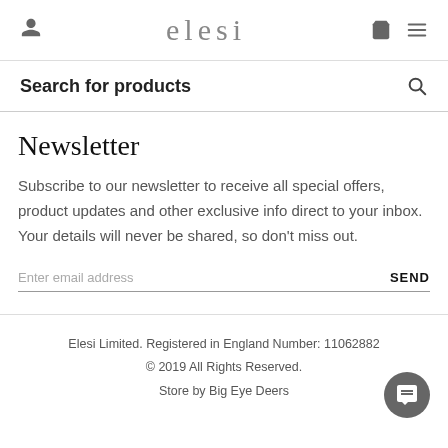elesi
Search for products
Newsletter
Subscribe to our newsletter to receive all special offers, product updates and other exclusive info direct to your inbox. Your details will never be shared, so don't miss out.
Enter email address  SEND
Elesi Limited. Registered in England Number: 11062882
© 2019 All Rights Reserved.
Store by Big Eye Deers